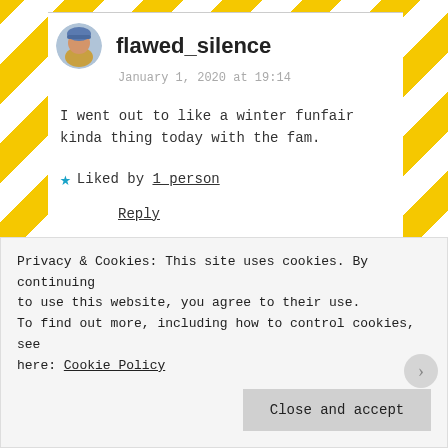[Figure (illustration): Yellow and white diagonal stripe background pattern]
flawed_silence
January 1, 2020 at 19:14
I went out to like a winter funfair kinda thing today with the fam.
★ Liked by 1 person
Reply
Privacy & Cookies: This site uses cookies. By continuing to use this website, you agree to their use.
To find out more, including how to control cookies, see here: Cookie Policy
Close and accept